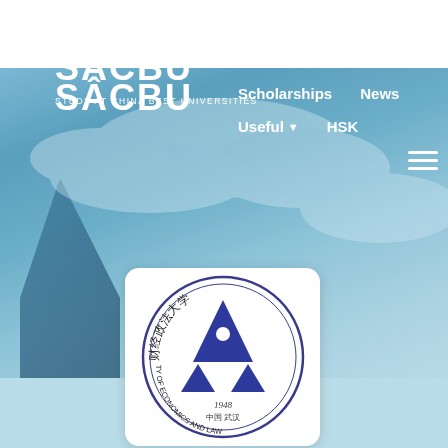[Figure (logo): SACBU - Study at China Best Universities website header with navigation links including Scholarships, News, Useful, HSK, and hamburger menu on a blue sky background]
[Figure (logo): Zhongnan University of Economics and Law seal/crest - circular emblem with Chinese characters, blue triangular geometric logo in center, founded 1948, located in Wuhan China]